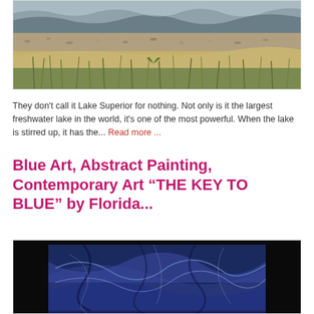[Figure (photo): Photograph of Lake Superior shoreline showing waves crashing on a rocky/pebbly beach with dune grass in the foreground and stormy water in the background]
They don't call it Lake Superior for nothing. Not only is it the largest freshwater lake in the world, it's one of the most powerful. When the lake is stirred up, it has the... Read more ...
Blue Art, Abstract Painting, Contemporary Art “THE KEY TO BLUE” by Florida...
[Figure (photo): Photograph of an abstract painting in blues and purples with swirling textures, displayed in a black frame against a black background]